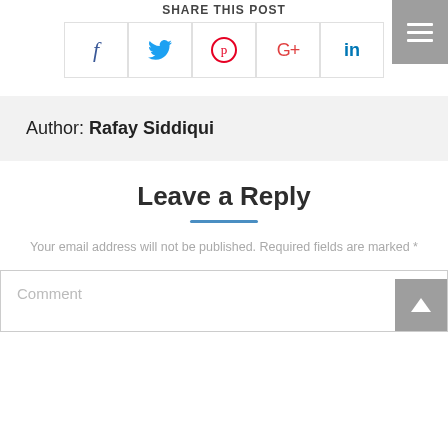Share this post
[Figure (infographic): Social share buttons row: Facebook (f), Twitter (bird), Pinterest (p in circle), Google+ (G+), LinkedIn (in)]
Author: Rafay Siddiqui
Leave a Reply
Your email address will not be published. Required fields are marked *
Comment